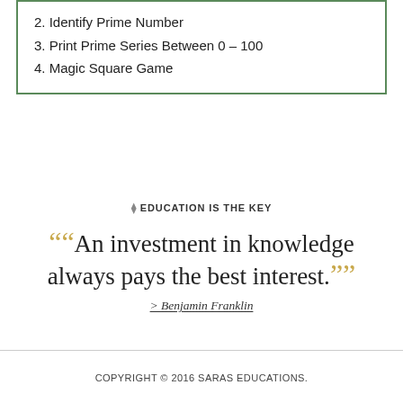2. Identify Prime Number
3. Print Prime Series Between 0 – 100
4. Magic Square Game
❖ EDUCATION IS THE KEY
"An investment in knowledge always pays the best interest." > Benjamin Franklin
COPYRIGHT © 2016 SARAS EDUCATIONS.